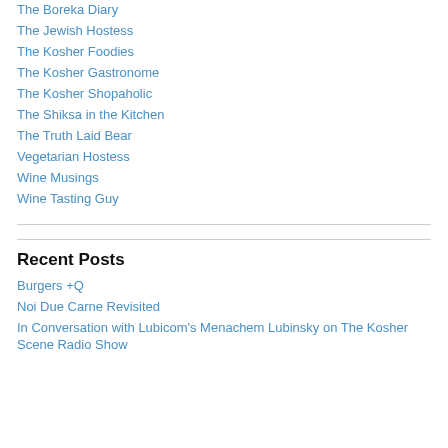The Boreka Diary
The Jewish Hostess
The Kosher Foodies
The Kosher Gastronome
The Kosher Shopaholic
The Shiksa in the Kitchen
The Truth Laid Bear
Vegetarian Hostess
Wine Musings
Wine Tasting Guy
Recent Posts
Burgers +Q
Noi Due Carne Revisited
In Conversation with Lubicom's Menachem Lubinsky on The Kosher Scene Radio Show